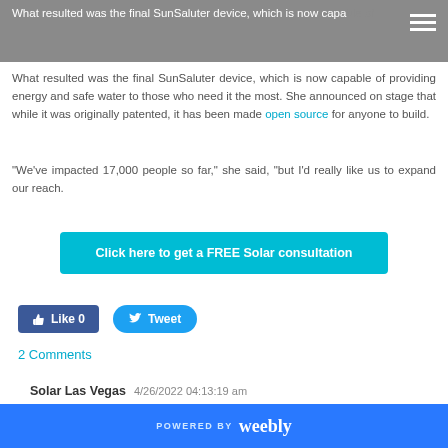What resulted was the final SunSaluter device, which is now capable of providing energy and safe water to those who need it the most. She announced on stage that while it was originally patented, it has been made open source for anyone to build.
“We’ve impacted 17,000 people so far,” she said, “but I’d really like us to expand our reach.
Click here to get a FREE Solar consultation
Like 0
Tweet
2 Comments
Solar Las Vegas   4/26/2022 04:13:19 am
Thanks for the blog loaded with so many information.
POWERED BY weebly